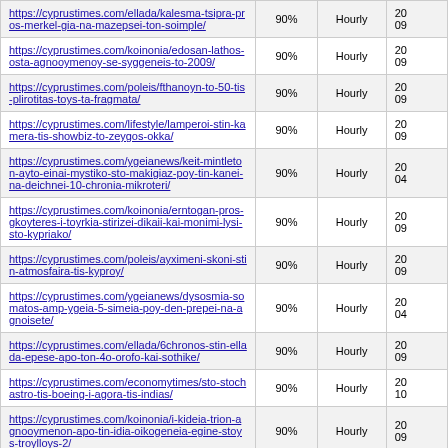| URL | Score | Frequency | Date |
| --- | --- | --- | --- |
| https://cyprustimes.com/ellada/kalesma-tsipra-pros-merkel-gia-na-mazepsei-ton-soimple/ | 90% | Hourly | 20 09 |
| https://cyprustimes.com/koinonia/edosan-lathos-osta-agnooymenoy-se-syggeneis-to-2009/ | 90% | Hourly | 20 09 |
| https://cyprustimes.com/poleis/fthanoyn-to-50-tis-plirotitas-toys-ta-fragmata/ | 90% | Hourly | 20 09 |
| https://cyprustimes.com/lifestyle/lamperoi-stin-kamera-tis-showbiz-to-zeygos-okka/ | 90% | Hourly | 20 09 |
| https://cyprustimes.com/ygeianews/keit-mintleton-ayto-einai-mystiko-sto-makigiaz-poy-tin-kanei-na-deichnei-10-chronia-mikroteri/ | 90% | Hourly | 20 04 |
| https://cyprustimes.com/koinonia/erntogan-pros-gkoyteres-i-toyrkia-stirizei-dikaii-kai-monimi-lysi-sto-kypriako/ | 90% | Hourly | 20 09 |
| https://cyprustimes.com/poleis/ayximeni-skoni-stin-atmosfaira-tis-kyproy/ | 90% | Hourly | 20 09 |
| https://cyprustimes.com/ygeianews/dysosmia-somatos-amp-ygeia-5-simeia-poy-den-prepei-na-agnoisete/ | 90% | Hourly | 20 04 |
| https://cyprustimes.com/ellada/6chronos-stin-ellada-epese-apo-ton-4o-orofo-kai-sothike/ | 90% | Hourly | 20 09 |
| https://cyprustimes.com/economytimes/sto-stochastro-tis-boeing-i-agora-tis-indias/ | 90% | Hourly | 20 10 |
| https://cyprustimes.com/koinonia/i-kideia-trion-agnooymenon-apo-tin-idia-oikogeneia-egine-stoys-troylloys-2/ | 90% | Hourly | 20 09 |
| https://cyprustimes.com/ellada/krisimi-episkepsi-... | 90% | Hourly | 20 |